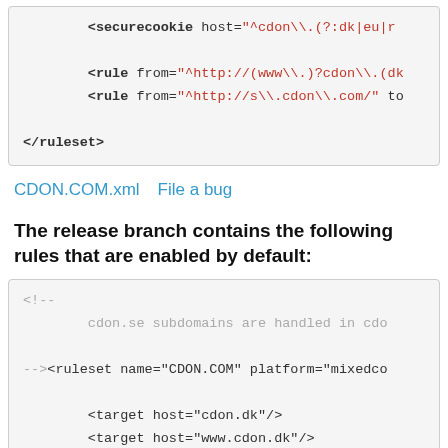[Figure (screenshot): Code block showing XML ruleset snippet with securecookie and rule elements, on gray background]
CDON.COM.xml   File a bug
The release branch contains the following rules that are enabled by default:
[Figure (screenshot): Code block showing XML with comment, ruleset name=CDON COM, target elements for cdon.dk, www.cdon.dk, cdon.eu]